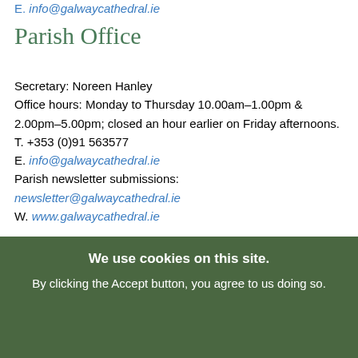E. info@galwaycathedral.ie
Parish Office
Secretary: Noreen Hanley
Office hours: Monday to Thursday 10.00am–1.00pm & 2.00pm–5.00pm; closed an hour earlier on Friday afternoons.
T. +353 (0)91 563577
E. info@galwaycathedral.ie
Parish newsletter submissions:
newsletter@galwaycathedral.ie
W. www.galwaycathedral.ie
Cathedral Bookshop
Open Monday–Saturday, 09:30–13:00 and 14:00–17:30; open Sunday between morning Masses.
We use cookies on this site.
By clicking the Accept button, you agree to us doing so.